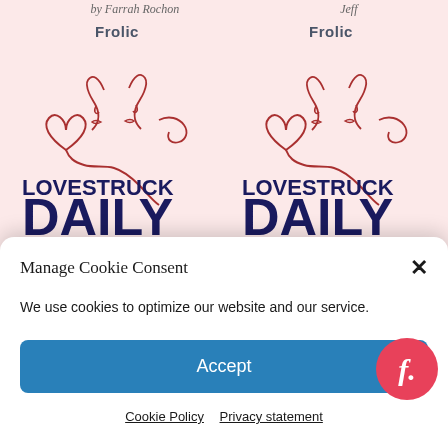by Farrah Rochon
Jeff
Frolic
Frolic
[Figure (illustration): Two book covers for 'Lovestruck Daily' side by side, with a line-art illustration of two faces about to kiss, with a heart, on a pink background. The book title 'LOVESTRUCK DAILY' appears in bold dark navy text at the bottom of each cover.]
Manage Cookie Consent
We use cookies to optimize our website and our service.
Accept
Cookie Policy
Privacy statement